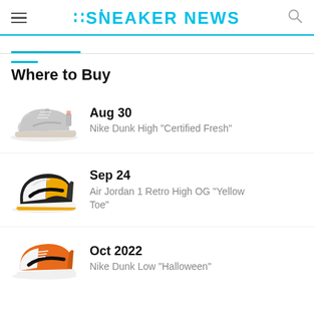SNEAKER NEWS
Where to Buy
Aug 30 — Nike Dunk High "Certified Fresh"
Sep 24 — Air Jordan 1 Retro High OG "Yellow Toe"
Oct 2022 — Nike Dunk Low "Halloween"